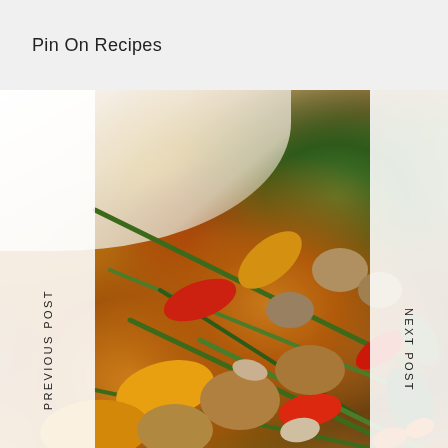Pin On Recipes
[Figure (photo): Close-up photo of roasted mixed vegetables including green beans, red and yellow bell peppers, mushrooms, potatoes, carrots, and zucchini on a white plate]
PREVIOUS POST
NEXT POST